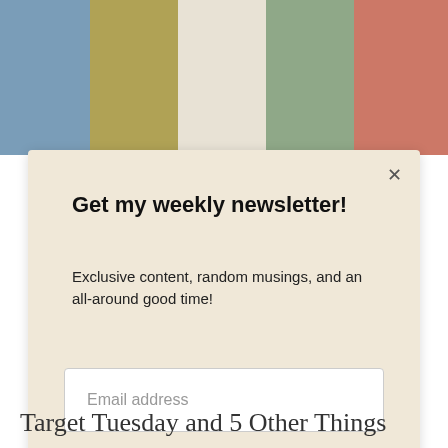[Figure (photo): Cropped photo of clothing items in different colors: blue floral, olive/khaki, white/cream, sage green, and pink floral fabrics worn by models]
Get my weekly newsletter!
Exclusive content, random musings, and an all-around good time!
Email address
Subscribe
Target Tuesday and 5 Other Things